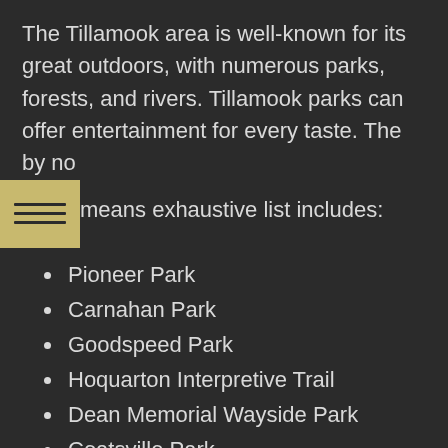The Tillamook area is well-known for its great outdoors, with numerous parks, forests, and rivers. Tillamook parks can offer entertainment for every taste. The by no means exhaustive list includes:
Pioneer Park
Carnahan Park
Goodspeed Park
Hoquarton Interpretive Trail
Dean Memorial Wayside Park
Coatsville Park
Sue H. Elmore Park
The astonishing number of hiking trails carefully maintained in a perfect condition surround the area. Rivers, big and small, provide kayak enthusiasts with